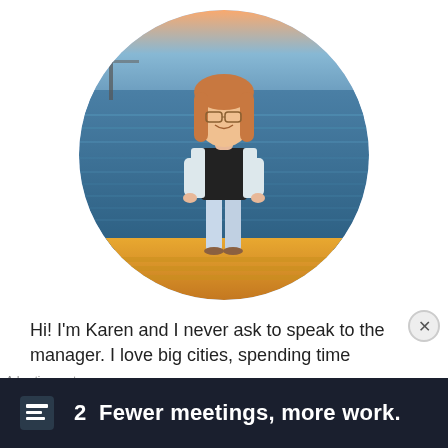[Figure (photo): Circular profile photo of a young woman standing on a waterfront boardwalk at sunset, wearing jeans, a black top and a white cardigan. Water and a pier visible in background.]
Hi! I'm Karen and I never ask to speak to the manager. I love big cities, spending time
Advertisements
[Figure (logo): Dark banner advertisement: Taskade logo (square icon with lines) next to bold white text: '2  Fewer meetings, more work.']